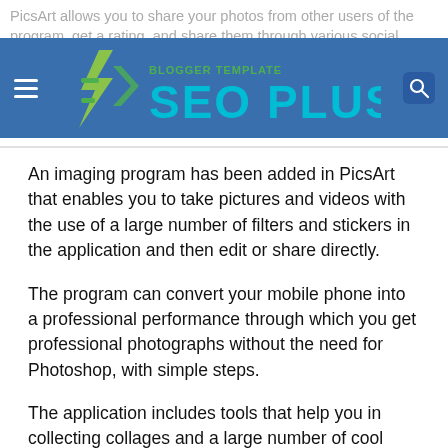PicsArt allows you to share your photos from other users of the program, get a rating, and share them through various social networking.
[Figure (logo): SEO PLUS blogger template logo with green lightning bolt icon and teal/green text on blue navigation bar]
An imaging program has been added in PicsArt that enables you to take pictures and videos with the use of a large number of filters and stickers in the application and then edit or share directly.
The program can convert your mobile phone into a professional performance through which you get professional photographs without the need for Photoshop, with simple steps.
The application includes tools that help you in collecting collages and a large number of cool designs, as well as writing on pictures or videos, compiling videos, adding audio clips, and the ability to quickly edit by artificial intelligence.